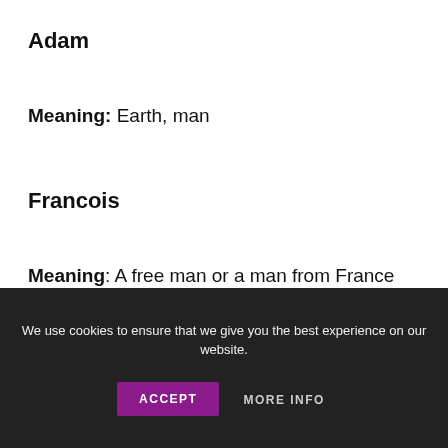Adam
Meaning: Earth, man
Francois
Meaning: A free man or a man from France
We use cookies to ensure that we give you the best experience on our website.
ACCEPT
MORE INFO